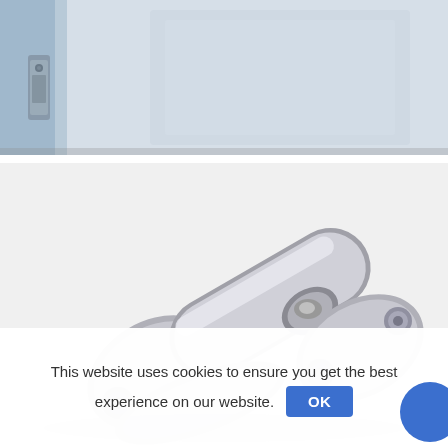[Figure (photo): Close-up photograph of a door frame and lock hardware (latch mechanism) viewed from an angle, showing light blue/grey door edge with a metal lock plate.]
[Figure (photo): Close-up photograph of a shiny chrome/silver metal door bolt/barrel bolt latch mechanism on a white background, showing the bolt, mounting plates with screws, and the bolt housing.]
This website uses cookies to ensure you get the best experience on our website.